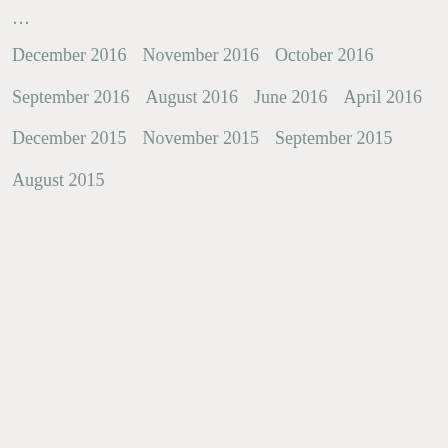December 2016
November 2016
October 2016
September 2016
August 2016
June 2016
April 2016
December 2015
November 2015
September 2015
August 2015